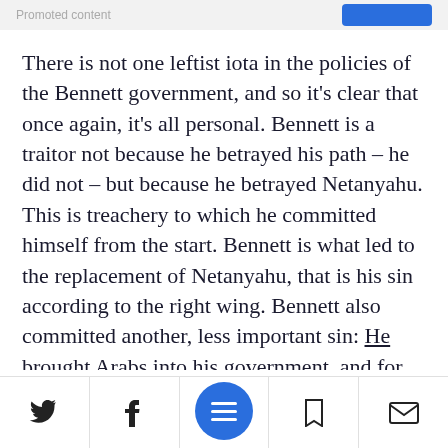Promoted content
There is not one leftist iota in the policies of the Bennett government, and so it’s clear that once again, it’s all personal. Bennett is a traitor not because he betrayed his path – he did not – but because he betrayed Netanyahu. This is treachery to which he committed himself from the start. Bennett is what led to the replacement of Netanyahu, that is his sin according to the right wing. Bennett also committed another, less important sin: He brought Arabs into his government, and for